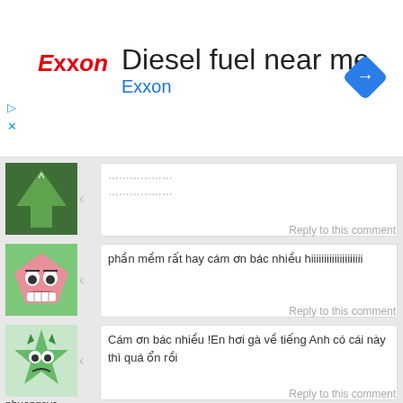[Figure (screenshot): Exxon advertisement banner with logo, 'Diesel fuel near me' title, blue navigation icon]
minhphuonglg
Jan 05. 2011
………………
Reply to this comment
neo8x8x
Jan 05. 2011
phần mềm rất hay cám ơn bác nhiều hiiiiiiiiiiiiiiiiiiii
Reply to this comment
phuongsvc
Jan 05. 2011
Cám ơn bác nhiều !En hơi gà về tiếng Anh có cái này thì quá ổn rồi
Reply to this comment